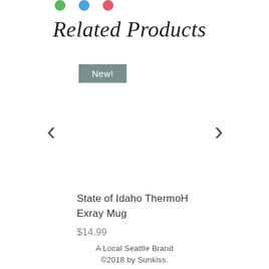[Figure (other): Social share icons (green, blue, red) at top of page]
Related Products
New!
< (left arrow navigation)
> (right arrow navigation)
State of Idaho ThermoH Exray Mug
$14.99
A Local Seattle Brand
©2018 by Sunkiss.